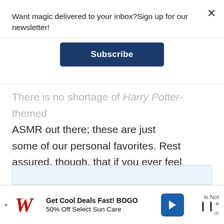Want magic delivered to your inbox?Sign up for our newsletter!
[Figure (other): Subscribe button - dark navy blue rectangular button with white bold text 'Subscribe']
There is no shortage of Harry Potter-themed ASMR out there; these are just some of our personal favorites. Rest assured, though, that if you ever feel overwhelmed and stressed and you wish someone would cast a Cheering Charm on you, worry not; the ASMR of the Wizarding World is just as effective.
[Figure (other): Heart/like button (dark navy circle with white heart icon) with count 3, and a share button below]
[Figure (other): Advertisement banner: Walgreens 'Get Cool Deals Fast! BOGO 50% Off Select Sun Care' with red W logo and blue chevron icon]